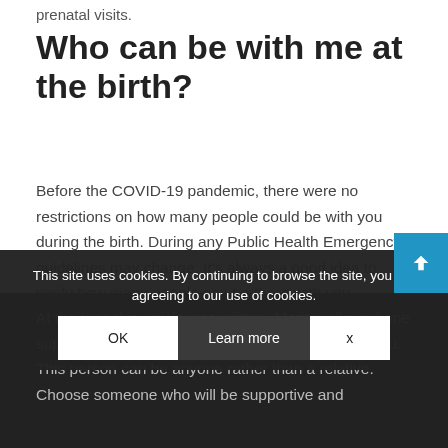prenatal visits.
Who can be with me at the birth?
Before the COVID-19 pandemic, there were no restrictions on how many people could be with you during the birth. During any Public Health Emergency, guidelines may change. It’s always a good idea to verify how many people can be there with you.
At the time this article was written, Meriter allowed one support person (in addition to a doula) to be with you. This person can be anyone rather than a relative. Choose someone who will be supportive and
This site uses cookies. By continuing to browse the site, you are agreeing to our use of cookies.